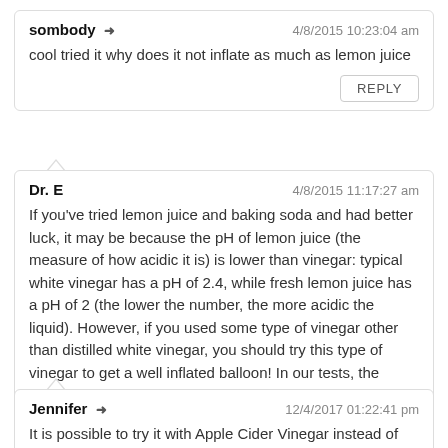sombody ➜  4/8/2015 10:23:04 am
cool tried it why does it not inflate as much as lemon juice
REPLY
Dr. E  4/8/2015 11:17:27 am
If you've tried lemon juice and baking soda and had better luck, it may be because the pH of lemon juice (the measure of how acidic it is) is lower than vinegar: typical white vinegar has a pH of 2.4, while fresh lemon juice has a pH of 2 (the lower the number, the more acidic the liquid). However, if you used some type of vinegar other than distilled white vinegar, you should try this type of vinegar to get a well inflated balloon! In our tests, the distilled white vinegar performed better than any other acid.
REPLY
Jennifer ➜  12/4/2017 01:22:41 pm
It is possible to try it with Apple Cider Vinegar instead of Insulated Vinegar?